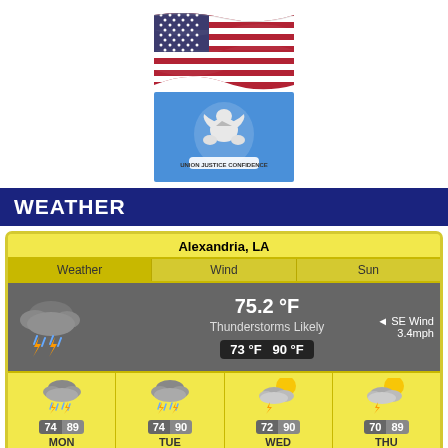[Figure (illustration): US flag waving, rendered in monochrome/grayscale style]
[Figure (illustration): Louisiana state flag - blue background with pelican state seal in white]
WEATHER
| Weather | Wind | Sun |
| --- | --- | --- |
| Alexandria, LA |  |  |
| 75.2 °F Thunderstorms Likely 73 °F  90 °F | SE Wind 3.4mph |  |
| 74 | 89 MON | 74 | 90 TUE | 72 | 90 WED | 70 | 89 THU |